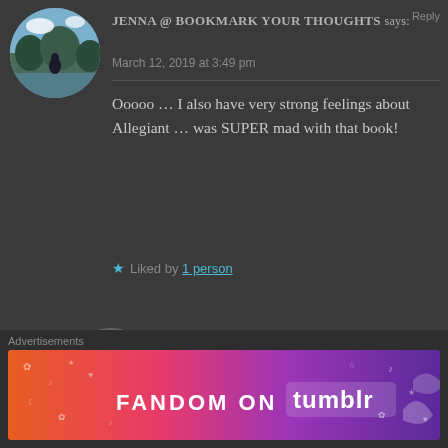[Figure (photo): Circular avatar photo of a person standing near a lake with trees in background]
JENNA @ BOOKMARK YOUR THOUGHTS says:
March 12, 2019 at 3:49 pm
Ooooo … I also have very strong feelings about Allegiant … was SUPER mad with that book!
Liked by 1 person
[Figure (logo): Circular avatar/logo for Ashes Books and Bobs with teapot illustration]
ASHESBOOKSANDBOBS says:
March 12, 2019 at 4:39 pm
Advertisements
[Figure (illustration): Fandom on Tumblr advertisement banner with colorful gradient background and small icons]